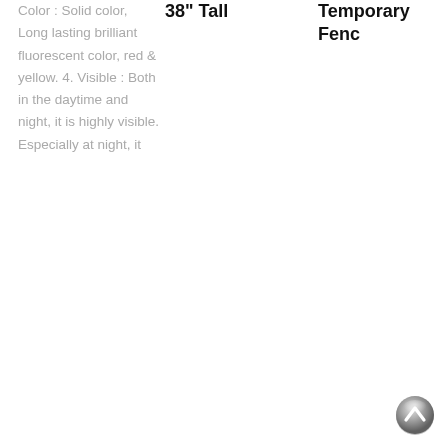Color : Solid color, Long lasting brilliant fluorescent color, red & yellow. 4. Visible : Both in the daytime and night, it is highly visible. Especially at night, it
38" Tall
Temporary Fenc
[Figure (other): Back to top button — a round metallic grey button with an upward-pointing chevron arrow]